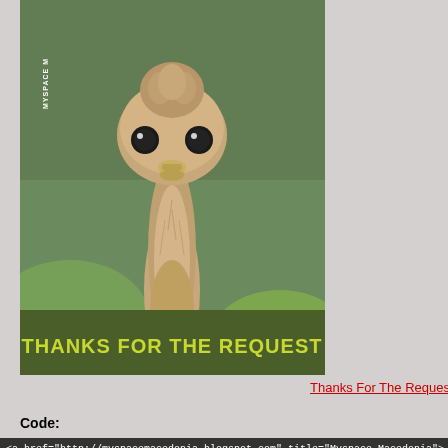[Figure (photo): An ostrich looking directly at the camera with a dark olive green banner at the bottom reading 'THANKS FOR THE REQUEST' in bold yellow-green text. The image has a 'MYSPACE M' watermark on the left side.]
Thanks For The Request -
Code:
<a href="http://myspacemacedonia.blogspot.com" title="Myspace Macedonia">